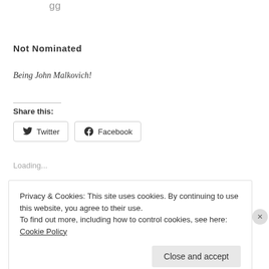gg
Not Nominated
Being John Malkovich!
Share this:
Twitter
Facebook
Loading...
Privacy & Cookies: This site uses cookies. By continuing to use this website, you agree to their use.
To find out more, including how to control cookies, see here: Cookie Policy
Close and accept